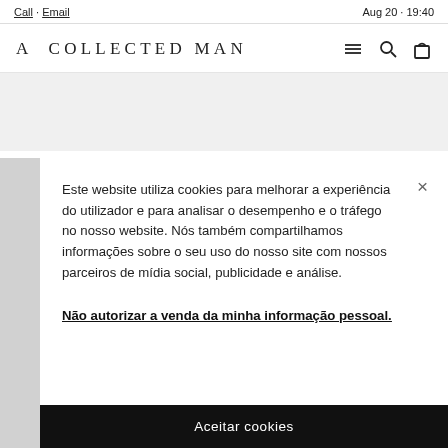Call · Email   Aug 20 · 19:40
A COLLECTED MAN
Este website utiliza cookies para melhorar a experiência do utilizador e para analisar o desempenho e o tráfego no nosso website. Nós também compartilhamos informações sobre o seu uso do nosso site com nossos parceiros de mídia social, publicidade e análise.
Não autorizar a venda da minha informação pessoal.
Aceitar cookies